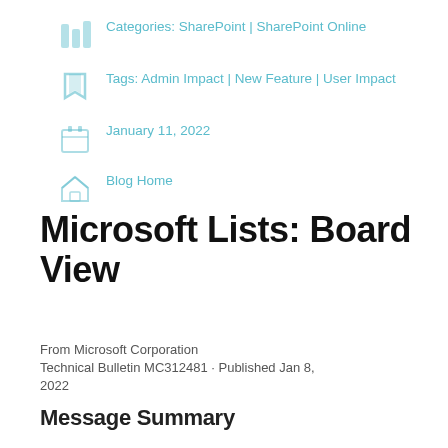Categories: SharePoint | SharePoint Online
Tags: Admin Impact | New Feature | User Impact
January 11, 2022
Blog Home
Microsoft Lists: Board View
From Microsoft Corporation
Technical Bulletin MC312481 · Published Jan 8, 2022
Message Summary